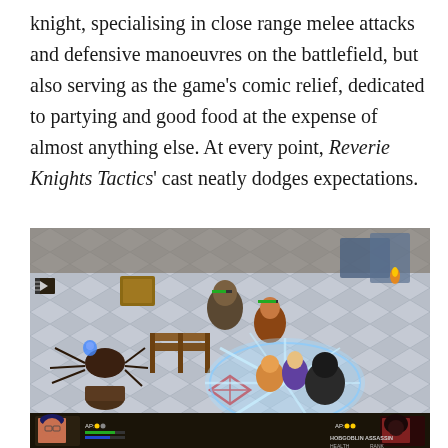knight, specialising in close range melee attacks and defensive manoeuvres on the battlefield, but also serving as the game's comic relief, dedicated to partying and good food at the expense of almost anything else. At every point, Reverie Knights Tactics' cast neatly dodges expectations.
[Figure (screenshot): Screenshot of Reverie Knights Tactics gameplay showing an isometric tactical RPG battle scene. Characters are engaged in combat on a diamond-patterned floor. A large blue ice/frost ability effect is visible in the center. Character portraits appear at the bottom corners. The bottom-right shows 'HOBGOBLIN ASSASSIN' health/info bar.]